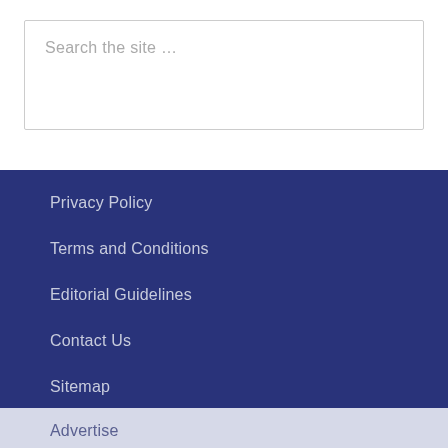Search the site …
Privacy Policy
Terms and Conditions
Editorial Guidelines
Contact Us
Sitemap
Advertise